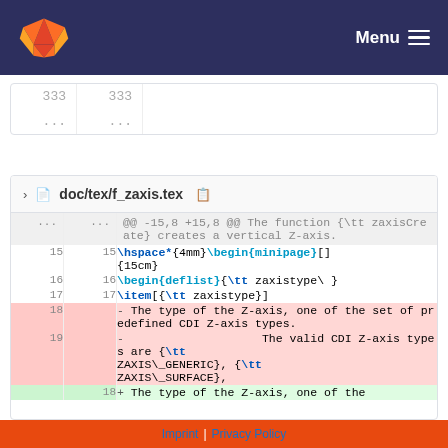GitLab  Menu
| old | new | content |
| --- | --- | --- |
| 333 | 333 |  |
| ... | ... |  |
doc/tex/f_zaxis.tex
| old_ln | new_ln | diff |
| --- | --- | --- |
| ... | ... | @@ -15,8 +15,8 @@ The function {\tt zaxisCreate} creates a vertical Z-axis. |
| 15 | 15 | \hspace*{4mm}\begin{minipage}[]{15cm} |
| 16 | 16 | \begin{deflist}{\tt zaxistype\ } |
| 17 | 17 | \item[{\tt zaxistype}] |
| 18 |  | - The type of the Z-axis, one of the set of predefined CDI Z-axis types. |
| 19 |  | - The valid CDI Z-axis types are {\tt ZAXIS\_GENERIC}, {\tt ZAXIS\_SURFACE}, |
|  | 18 | + The type of the Z-axis, one of the |
Imprint | Privacy Policy